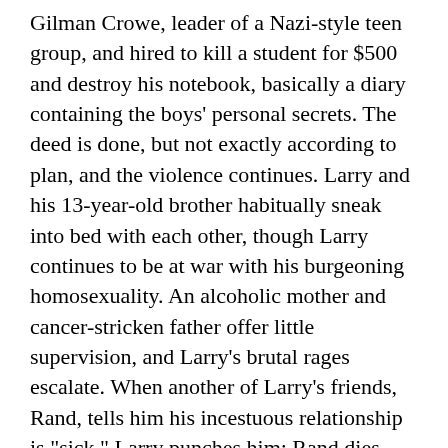Gilman Crowe, leader of a Nazi-style teen group, and hired to kill a student for $500 and destroy his notebook, basically a diary containing the boys' personal secrets. The deed is done, but not exactly according to plan, and the violence continues. Larry and his 13-year-old brother habitually sneak into bed with each other, though Larry continues to be at war with his burgeoning homosexuality. An alcoholic mother and cancer-stricken father offer little supervision, and Larry's brutal rages escalate. When another of Larry's friends, Rand, tells him his incestuous relationship is "sick," Larry punches him; Rand dies soon afterward, apparently of natural causes, but Larry is crushed by guilt and haunted by the death. [redacted] tale wraps [redacted] te wi...